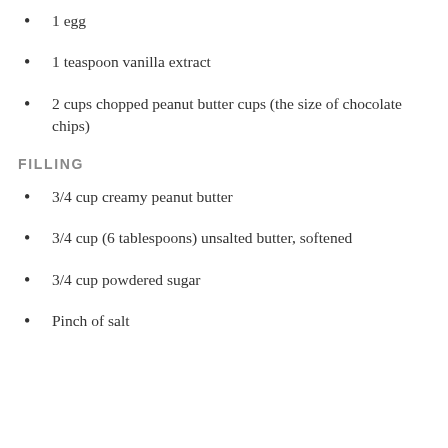1 egg
1 teaspoon vanilla extract
2 cups chopped peanut butter cups (the size of chocolate chips)
FILLING
3/4 cup creamy peanut butter
3/4 cup (6 tablespoons) unsalted butter, softened
3/4 cup powdered sugar
Pinch of salt